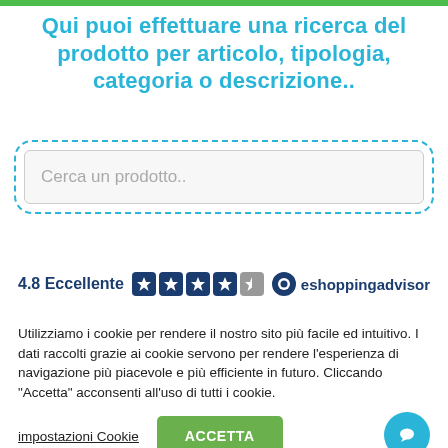Qui puoi effettuare una ricerca del prodotto per articolo, tipologia, categoria o descrizione..
[Figure (screenshot): Search input field with placeholder text 'Cerca un prodotto..' surrounded by a dashed blue border]
4.8 Eccellente eshoppingadvisor
Utilizziamo i cookie per rendere il nostro sito più facile ed intuitivo. I dati raccolti grazie ai cookie servono per rendere l'esperienza di navigazione più piacevole e più efficiente in futuro. Cliccando "Accetta" acconsenti all'uso di tutti i cookie.
impostazioni Cookie
ACCETTA